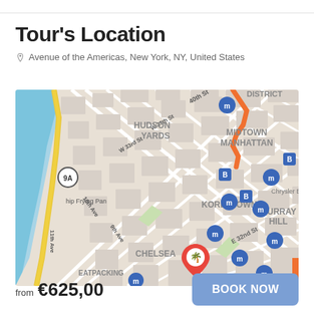Tour's Location
Avenue of the Americas, New York, NY, United States
[Figure (map): Google Maps view showing Midtown Manhattan area of New York City, including Hudson Yards, Chelsea, Koreatown, Murray Hill, and Meatpacking districts. A red location pin with a palm tree icon marks a location near the Meatpacking/Chelsea area on Avenue of the Americas. Multiple blue metro/subway icons are visible across the map.]
from €625,00
BOOK NOW